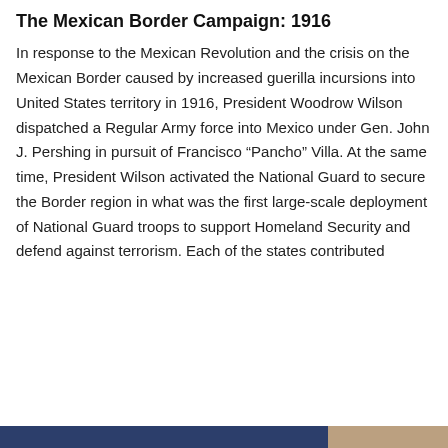The Mexican Border Campaign: 1916
In response to the Mexican Revolution and the crisis on the Mexican Border caused by increased guerilla incursions into United States territory in 1916, President Woodrow Wilson dispatched a Regular Army force into Mexico under Gen. John J. Pershing in pursuit of Francisco “Pancho” Villa. At the same time, President Wilson activated the National Guard to secure the Border region in what was the first large-scale deployment of National Guard troops to support Homeland Security and defend against terrorism. Each of the states contributed
Privacy & Cookies: This site uses cookies. By continuing to use this website, you agree to their use.
To find out more, including how to control cookies, see here: Cookie Policy
[Figure (screenshot): Close and accept button for cookie consent banner; dark blue and beige image bar at bottom of page]